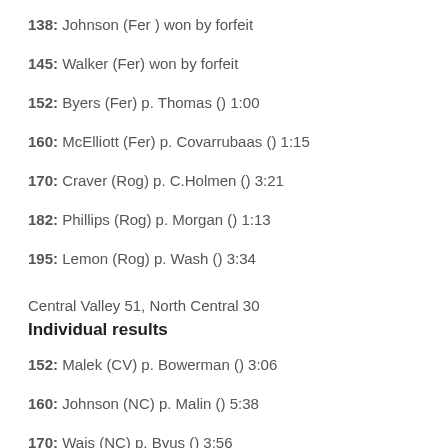138: Johnson (Fer ) won by forfeit
145: Walker (Fer) won by forfeit
152: Byers (Fer) p. Thomas () 1:00
160: McElliott (Fer) p. Covarrubaas () 1:15
170: Craver (Rog) p. C.Holmen () 3:21
182: Phillips (Rog) p. Morgan () 1:13
195: Lemon (Rog) p. Wash () 3:34
Central Valley 51, North Central 30
Individual results
152: Malek (CV) p. Bowerman () 3:06
160: Johnson (NC) p. Malin () 5:38
170: Wais (NC) p. Byus () 3:56